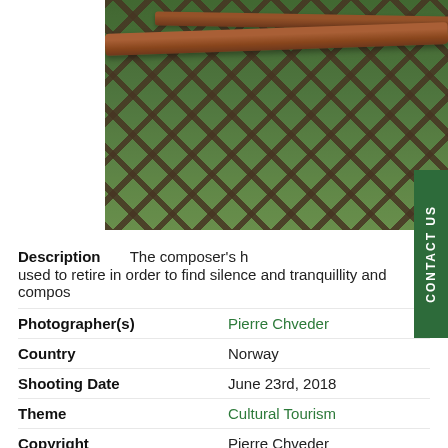[Figure (photo): Rustic wooden fence made of logs arranged in a diagonal lattice pattern, with green grass and trees in the background. Norway landscape photo.]
Description    The composer's h used to retire in order to find silence and tranquillity and compos
Photographer(s)    Pierre Chveder
Country    Norway
Shooting Date    June 23rd, 2018
Theme    Cultural Tourism
Copyright    Pierre Chveder